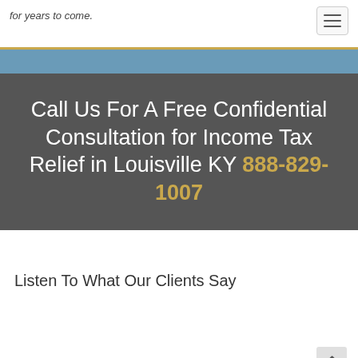for years to come.
[Figure (other): Hamburger menu icon button]
Call Us For A Free Confidential Consultation for Income Tax Relief in Louisville KY 888-829-1007
Listen To What Our Clients Say